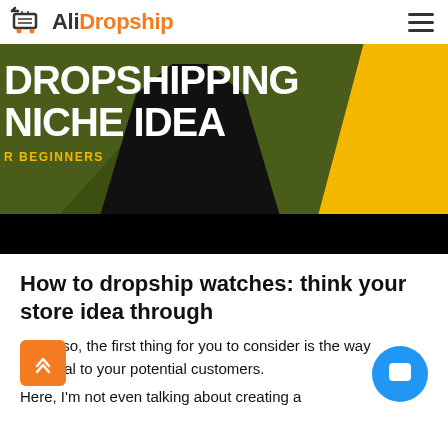AliDropship
[Figure (photo): Hero banner image showing a person in black clothing against a dark olive/green background with yellow accent shape. Text overlay reads 'DROPSHIPPING NICHE IDEA FOR BEGINNERS']
How to dropship watches: think your store idea through
Okay, so, the first thing for you to consider is the way yll appeal to your potential customers.
Here, I'm not even talking about creating a